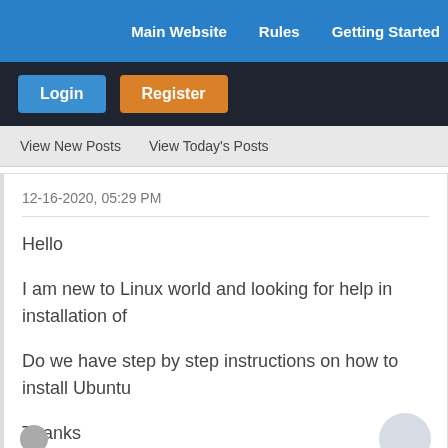Main Website   Rules   Getting Started
Login   Register
View New Posts   View Today's Posts
12-16-2020, 05:29 PM
Hello

I am new to Linux world and looking for help in installation of

Do we have step by step instructions on how to install Ubuntu

Thanks